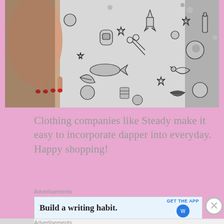[Figure (photo): A person wearing a white dress/skirt with black illustrated tattoo-style prints of various objects including rockets, stars, lips, fish, birds, and other retro objects. A hand with red nails rests on the fabric.]
Clothing companies like Steady make it easy to incorporate dapper into everyday.  Happy shopping!
Advertisements
[Figure (screenshot): Advertisement banner: 'Build a writing habit.' with 'GET THE APP' button and a blue circular logo icon.]
Advertisements
[Figure (screenshot): DuckDuckGo advertisement: 'Search, browse, and email with more privacy. All in One Free App' on orange background with DuckDuckGo logo on dark background.]